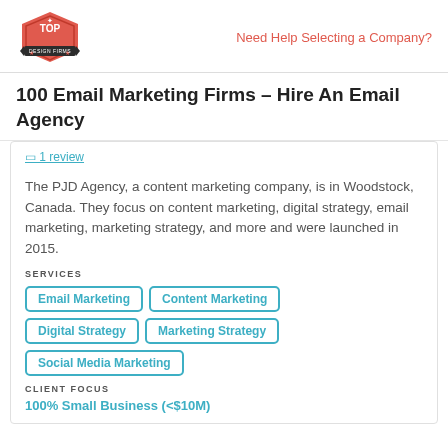Need Help Selecting a Company?
100 Email Marketing Firms – Hire An Email Agency
The PJD Agency, a content marketing company, is in Woodstock, Canada. They focus on content marketing, digital strategy, email marketing, marketing strategy, and more and were launched in 2015.
SERVICES
Email Marketing
Content Marketing
Digital Strategy
Marketing Strategy
Social Media Marketing
CLIENT FOCUS
100% Small Business (<$10M)